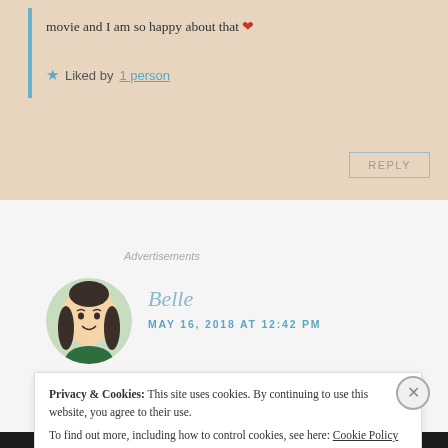movie and I am so happy about that ❤
★ Liked by 1 person
REPLY
Advertisements
Belle
MAY 16, 2018 AT 12:42 PM
Privacy & Cookies: This site uses cookies. By continuing to use this website, you agree to their use. To find out more, including how to control cookies, see here: Cookie Policy
Close and accept